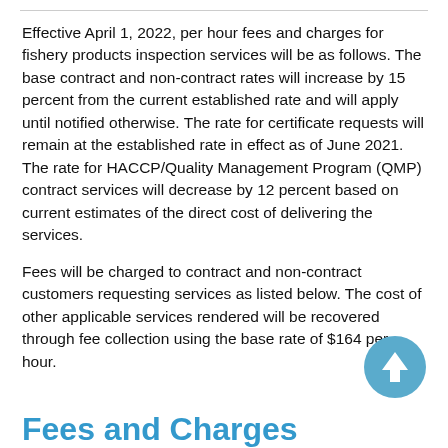Effective April 1, 2022, per hour fees and charges for fishery products inspection services will be as follows. The base contract and non-contract rates will increase by 15 percent from the current established rate and will apply until notified otherwise. The rate for certificate requests will remain at the established rate in effect as of June 2021. The rate for HACCP/Quality Management Program (QMP) contract services will decrease by 12 percent based on current estimates of the direct cost of delivering the services.
Fees will be charged to contract and non-contract customers requesting services as listed below. The cost of other applicable services rendered will be recovered through fee collection using the base rate of $164 per hour.
Fees and Charges